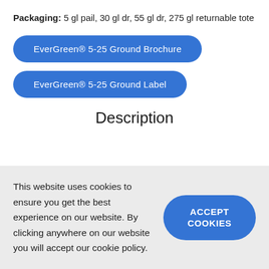Packaging: 5 gl pail, 30 gl dr, 55 gl dr, 275 gl returnable tote
[Figure (other): Blue rounded button labeled 'EverGreen® 5-25 Ground Brochure']
[Figure (other): Blue rounded button labeled 'EverGreen® 5-25 Ground Label']
Description
This website uses cookies to ensure you get the best experience on our website. By clicking anywhere on our website you will accept our cookie policy.
[Figure (other): Blue rounded button labeled 'ACCEPT COOKIES']